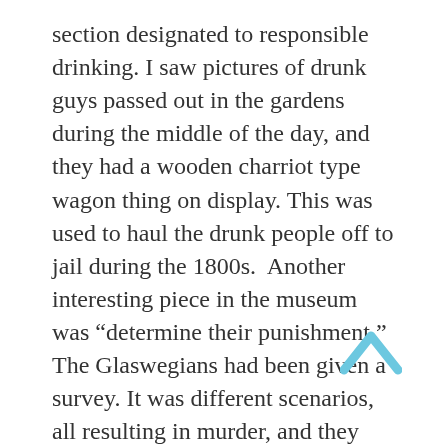section designated to responsible drinking. I saw pictures of drunk guys passed out in the gardens during the middle of the day, and they had a wooden charriot type wagon thing on display. This was used to haul the drunk people off to jail during the 1800s.  Another interesting piece in the museum was “determine their punishment.” The Glaswegians had been given a survey. It was different scenarios, all resulting in murder, and they picked jail time or death as a sentence.  Mind you some deaths were on accident or negligence, and some were quite gruesome. The Glaswegians are brutal. They said everyone should be sentanced to death. The Scottish see no mercy.  My time in Glasgow was rather lazy. I did see the city. I walked around it a lot both during the day and at night.  I checked out the Necropolis, which is